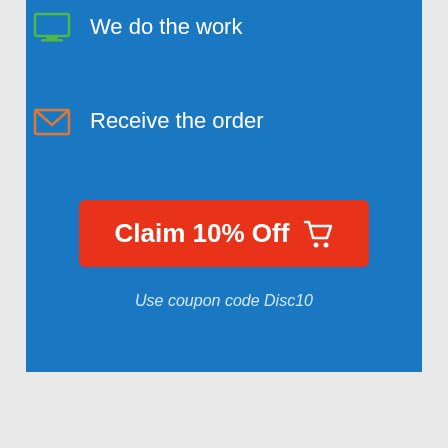We do the work
Receive the order
Claim 10% Off
Use coupon code Disc10